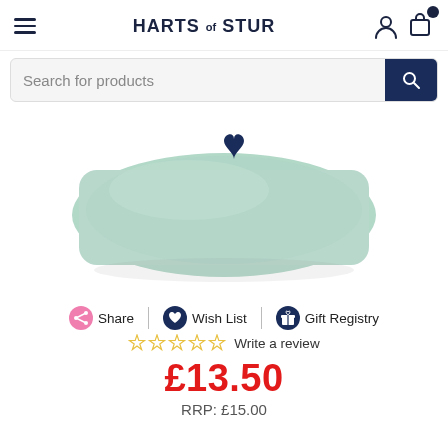HARTS of STUR
Search for products
[Figure (photo): A mint/sage green rectangular cushion/pillow with a small dark navy heart or leaf motif visible at the top center, photographed on a white background.]
Share | Wish List | Gift Registry
Write a review
£13.50
RRP: £15.00